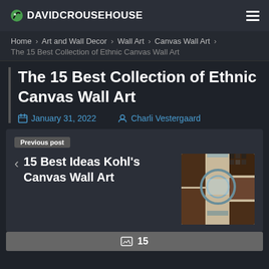DAVIDCROUSEHOUSE
Home › Art and Wall Decor › Wall Art › Canvas Wall Art › The 15 Best Collection of Ethnic Canvas Wall Art
The 15 Best Collection of Ethnic Canvas Wall Art
January 31, 2022   Charli Vestergaard
Previous post
‹ 15 Best Ideas Kohl's Canvas Wall Art
[Figure (photo): Thumbnail image of canvas wall art showing geometric and circular patterns in brown, teal, and cream tones]
15